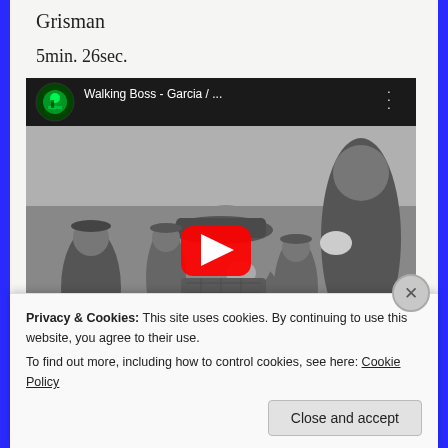Grisman
5min. 26sec.
[Figure (screenshot): YouTube video embed showing 'Walking Boss - Garcia / ...' with a black-and-white photo of men eating outdoors, featuring a red YouTube play button overlay and channel avatar.]
Privacy & Cookies: This site uses cookies. By continuing to use this website, you agree to their use.
To find out more, including how to control cookies, see here: Cookie Policy
Close and accept